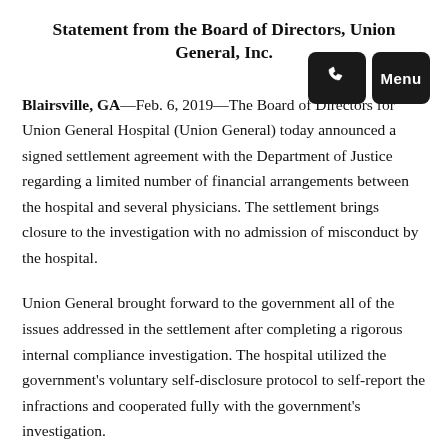Statement from the Board of Directors, Union General, Inc.
[Figure (screenshot): Navigation buttons: a phone icon button and a Menu button, both dark/black rounded rectangles]
Blairsville, GA—Feb. 6, 2019—The Board of Directors for Union General Hospital (Union General) today announced a signed settlement agreement with the Department of Justice regarding a limited number of financial arrangements between the hospital and several physicians. The settlement brings closure to the investigation with no admission of misconduct by the hospital.
Union General brought forward to the government all of the issues addressed in the settlement after completing a rigorous internal compliance investigation. The hospital utilized the government's voluntary self-disclosure protocol to self-report the infractions and cooperated fully with the government's investigation.